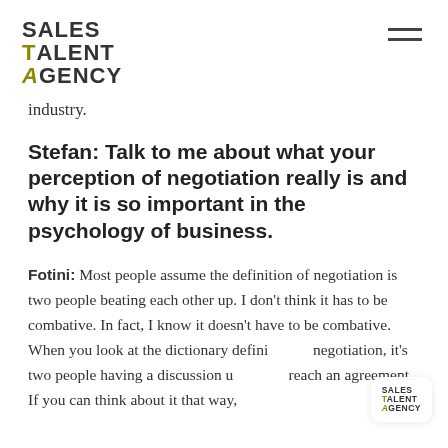Sales Talent Agency [logo] [hamburger menu]
industry.
Stefan: Talk to me about what your perception of negotiation really is and why it is so important in the psychology of business.
Fotini: Most people assume the definition of negotiation is two people beating each other up. I don't think it has to be combative. In fact, I know it doesn't have to be combative. When you look at the dictionary definition of negotiation, it's two people having a discussion until they reach an agreement. If you can think about it that way,